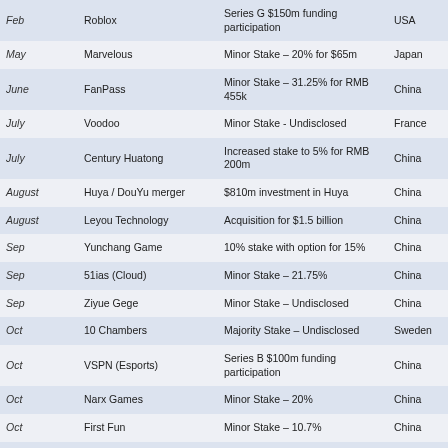| Month | Company | Deal | Country |
| --- | --- | --- | --- |
| Feb | Roblox | Series G $150m funding participation | USA |
| May | Marvelous | Minor Stake – 20% for $65m | Japan |
| June | FanPass | Minor Stake – 31.25% for RMB 455k | China |
| July | Voodoo | Minor Stake - Undisclosed | France |
| July | Century Huatong | Increased stake to 5% for RMB 200m | China |
| August | Huya / DouYu merger | $810m investment in Huya | China |
| August | Leyou Technology | Acquisition for $1.5 billion | China |
| Sep | Yunchang Game | 10% stake with option for 15% | China |
| Sep | 51ias (Cloud) | Minor Stake – 21.75% | China |
| Sep | Ziyue Gege | Minor Stake – Undisclosed | China |
| Oct | 10 Chambers | Majority Stake – Undisclosed | Sweden |
| Oct | VSPN (Esports) | Series B $100m funding participation | China |
| Oct | Narx Games | Minor Stake – 20% | China |
| Oct | First Fun | Minor Stake – 10.7% | China |
| Nov | Nuanyu Technology | Minor Stake – 20% | China |
| Nov | Lockwood Publishing | Minor Stake - $25m investment | UK |
| Nov | Wizard Games | Minor Stake - Millions of RMB | China |
| Nov | Note7G | Minor Stake – 30% | China |
| Nov | Wangyuan Shengtang | Minor Stake – 20% | China |